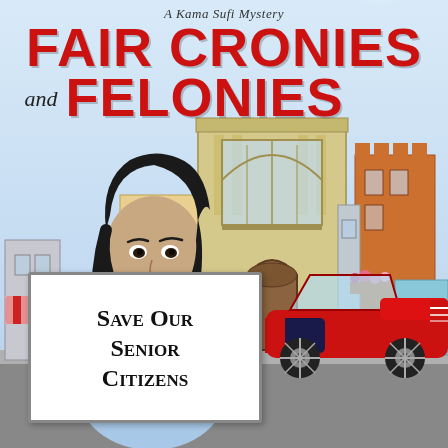[Figure (illustration): Book cover for 'A Kama Sufi Mystery: Fair Cronies and Felonies'. Illustrated cover showing a young woman with dark hair holding a white protest sign reading 'Save Our Senior Citizens'. Behind her is a street scene with buildings including a large classical building, a red convertible muscle car, and various storefronts. The title text is bold red at the top.]
A Kama Sufi Mystery
FAIR CRONIES and FELONIES
Save Our Senior Citizens